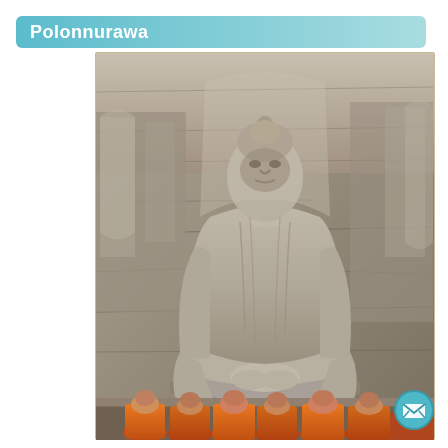Polonnurawa
[Figure (photo): Large stone Buddha statue carved into rock face at Polonnaruwa, Sri Lanka, with Buddhist monks in orange robes kneeling in devotion at the base of the statue]
[Figure (other): Email/contact button icon overlaid on bottom right of the photograph]